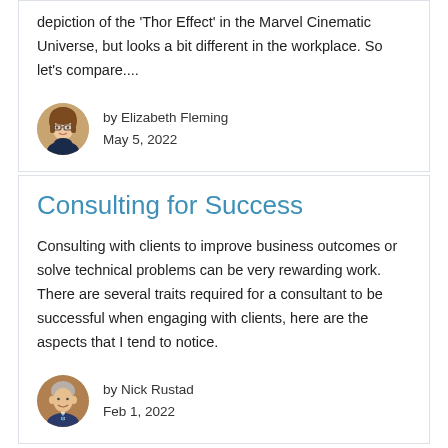depiction of the 'Thor Effect' in the Marvel Cinematic Universe, but looks a bit different in the workplace. So let's compare....
by Elizabeth Fleming
May 5, 2022
Consulting for Success
Consulting with clients to improve business outcomes or solve technical problems can be very rewarding work.  There are several traits required for a consultant to be successful when engaging with clients, here are the aspects that I tend to notice.
by Nick Rustad
Feb 1, 2022